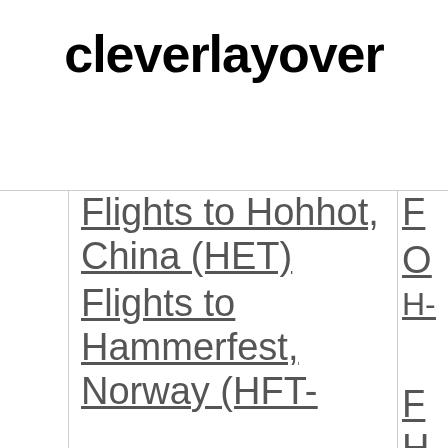cleverlayover
Flights to Hohhot, China (HET)
Flights to Hammerfest, Norway (HFT-